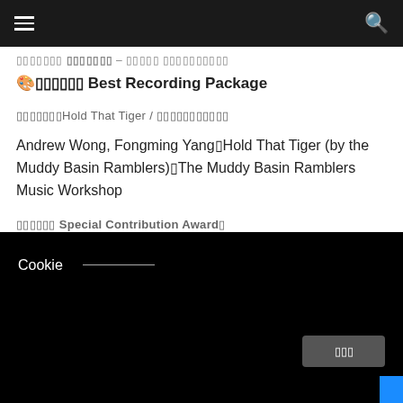〓〓〓〓〓〓 Best Recording Package
〓〓〓〓〓〓〓Hold That Tiger / 〓〓〓〓〓〓〓〓〓〓〓
Andrew Wong, Fongming Yang〓Hold That Tiger (by the Muddy Basin Ramblers)〓The Muddy Basin Ramblers Music Workshop
〓〓〓〓〓〓 Special Contribution Award〓
🎭〓〓〓〓〓〓 Special Contribution Award
〓〓〓〓〓〓 Black List Studio
Cookie